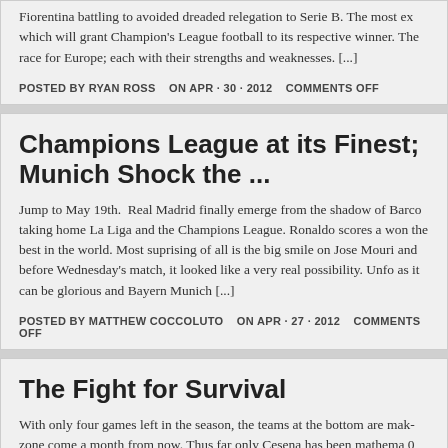Fiorentina battling to avoided dreaded relegation to Serie B. The most ex which will grant Champion's League football to its respective winner. The race for Europe; each with their strengths and weaknesses. [...]
POSTED BY RYAN ROSS   ON APR - 30 - 2012     COMMENTS OFF
Champions League at its Finest; Munich Shock the ...
Jump to May 19th.  Real Madrid finally emerge from the shadow of Barc taking home La Liga and the Champions League. Ronaldo scores a won the best in the world. Most suprising of all is the big smile on Jose Mouri and before Wednesday's match, it looked like a very real possibility. Unf as it can be glorious and Bayern Munich [...]
POSTED BY MATTHEW COCCOLUTO   ON APR - 27 - 2012     COMMENTS OFF
The Fight for Survival
With only four games left in the season, the teams at the bottom are mak zone come a month from now. Thus far only Cesena has been mathema 0 defeat to Juventus on Wednesday. Novara will almost assuredly be the relegated, having to face Juventus at home on Sunday. So that leaves...